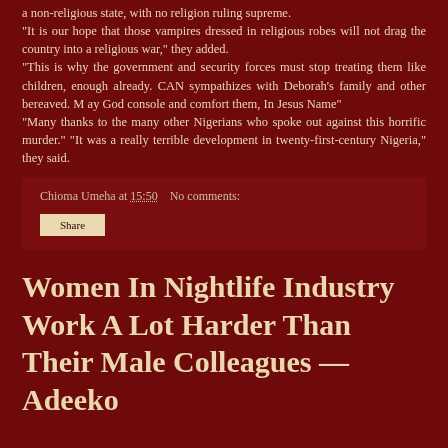a non-religious state, with no religion ruling supreme. "It is our hope that those vampires dressed in religious robes will not drag the country into a religious war," they added. "This is why the government and security forces must stop treating them like children, enough already. CAN sympathizes with Deborah's family and other bereaved. M ay God console and comfort them, In Jesus Name" "Many thanks to the many other Nigerians who spoke out against this horrific murder." "It was a really terrible development in twenty-first-century Nigeria," they said.
Chioma Umeha at 15:50   No comments:
Share
Women In Nightlife Industry Work A Lot Harder Than Their Male Colleagues — Adeeko